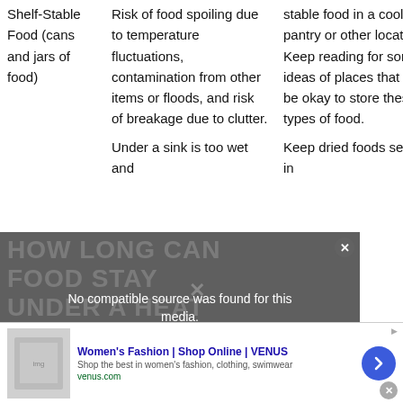| Food Type | Risks | Storage Tips |
| --- | --- | --- |
| Shelf-Stable Food (cans and jars of food) | Risk of food spoiling due to temperature fluctuations, contamination from other items or floods, and risk of breakage due to clutter. | stable food in a cool, dry pantry or other location. Keep reading for some ideas of places that would be okay to store these types of food. |
|  | Under a sink is too wet and | Keep dried foods sealed in |
[Figure (screenshot): Video player overlay showing 'No compatible source was found for this media.' message with background text reading 'HOW LONG CAN FOOD STAY UNDER A HEAT LAMP?' and a close button.]
[Figure (screenshot): Advertisement banner for Women's Fashion at VENUS (venus.com) with navigation arrow button.]